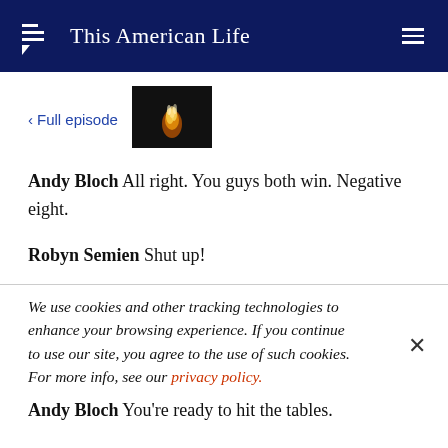This American Life
< Full episode
[Figure (photo): Thumbnail image of a flame on a dark background]
Andy Bloch All right. You guys both win. Negative eight.
Robyn Semien Shut up!
We use cookies and other tracking technologies to enhance your browsing experience. If you continue to use our site, you agree to the use of such cookies. For more info, see our privacy policy.
Andy Bloch You're ready to hit the tables.